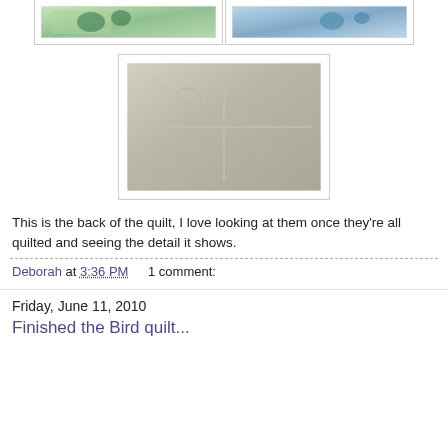[Figure (photo): Two small quilt detail photos side by side at top of page showing colorful quilt blocks]
[Figure (photo): Large photo of the back of a quilt showing quilting stitch detail pattern on light fabric]
This is the back of the quilt, I love looking at them once they're all quilted and seeing the detail it shows.
Deborah at 3:36 PM    1 comment:
Friday, June 11, 2010
Finished the Bird quilt...